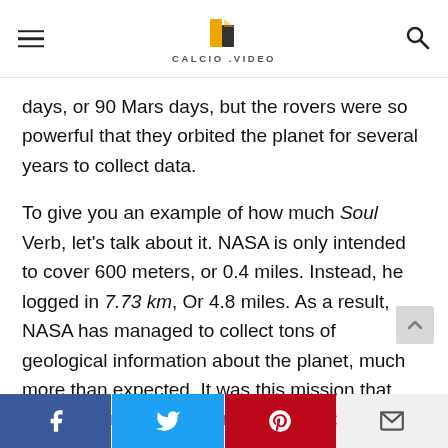CALCIO.VIDEO
days, or 90 Mars days, but the rovers were so powerful that they orbited the planet for several years to collect data.
To give you an example of how much Soul Verb, let’s talk about it. NASA is only intended to cover 600 meters, or 0.4 miles. Instead, he logged in 7.73 km, Or 4.8 miles. As a result, NASA has managed to collect tons of geological information about the planet, much more than expected. It was this mission that allowed humans to begin dreaming about colonizing Mars.
Facebook | Twitter | Pinterest | Email